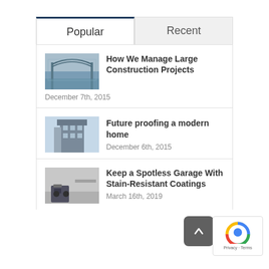Popular
Recent
How We Manage Large Construction Projects
December 7th, 2015
Future proofing a modern home
December 6th, 2015
Keep a Spotless Garage With Stain-Resistant Coatings
March 16th, 2019